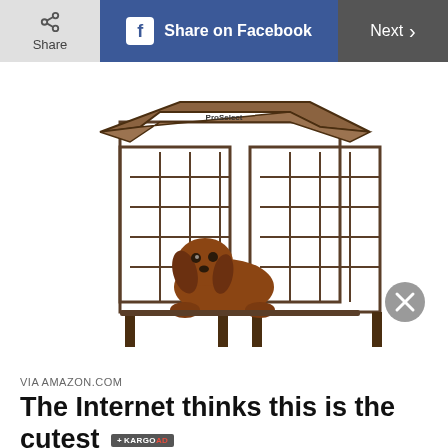Share | Share on Facebook | Next >
[Figure (photo): A dachshund dog sitting inside a metal pet gazebo/crate with a brown fabric roof cover, photographed on a white background.]
VIA AMAZON.COM
The Internet thinks this is the cutest
If the idea of a pet gazebo doesn't make your heart feel warm things, you're in the minority,